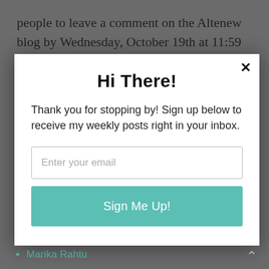people to leave a comment on the Altenew blog by Wednesday, October 19th at 11:59 PM EST for a chance to win. The winners will be announced on Thursday,
Hi There!
Thank you for stopping by! Sign up below to receive my weekly posts right in your inbox.
BLOG HOP LIST
Altenew
Laura Bassen
Marika Rahtu